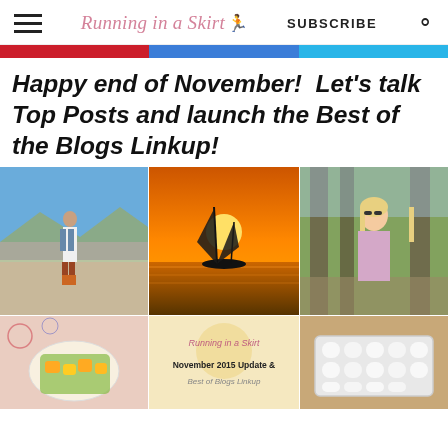Running in a Skirt  SUBSCRIBE
Happy end of November!  Let's talk Top Posts and launch the Best of the Blogs Linkup!
[Figure (photo): Collage of blog images: woman in outdoor setting, sailboat at sunset, woman in floral top, food dish, Running in a Skirt logo with November 2015 Update & Best of Blogs Linkup text overlay, s'mores dish]